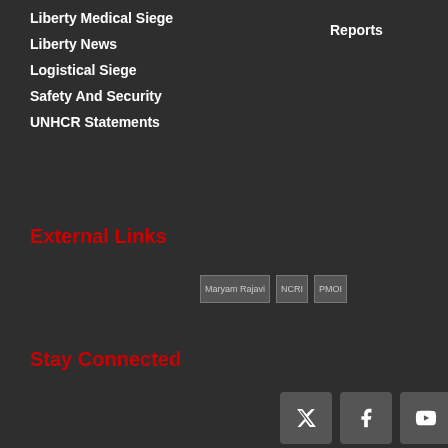Liberty Medical Siege
Reports
Liberty News
Logistical Siege
Safety And Security
UNHCR Statements
External Links
[Figure (other): Three external link images: Maryam Rajavi, NCRI, PMOI]
Stay Connected
[Figure (other): Social media buttons: Twitter, Facebook, YouTube]
Copyright © 2008 - 2020 by Iran Efshagar - English. All rights reserved.